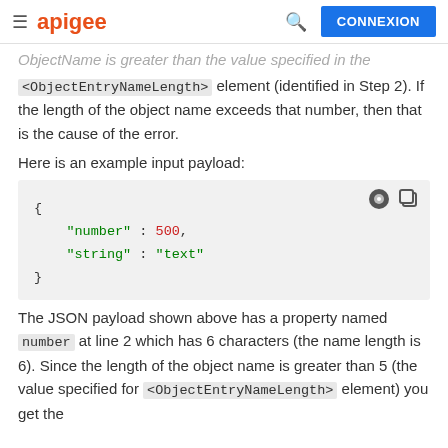apigee | CONNEXION
ObjectName is greater than the value specified in the <ObjectEntryNameLength> element (identified in Step 2). If the length of the object name exceeds that number, then that is the cause of the error.
Here is an example input payload:
[Figure (screenshot): Code block showing JSON payload: { "number" : 500, "string" : "text" }]
The JSON payload shown above has a property named number at line 2 which has 6 characters (the name length is 6). Since the length of the object name is greater than 5 (the value specified for <ObjectEntryNameLength> element) you get the